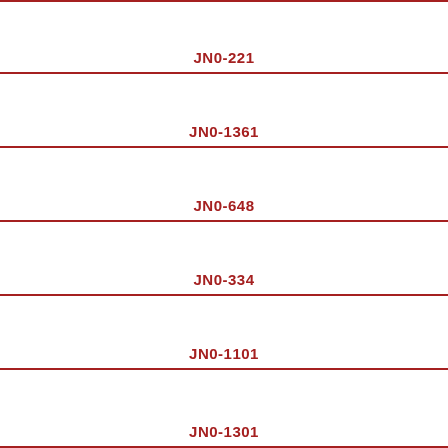JN0-221
JN0-1361
JN0-648
JN0-334
JN0-1101
JN0-1301